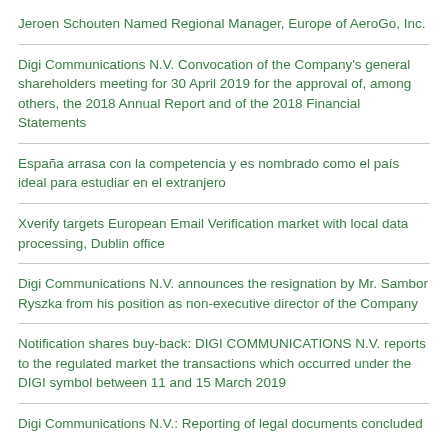Jeroen Schouten Named Regional Manager, Europe of AeroGo, Inc.
Digi Communications N.V. Convocation of the Company's general shareholders meeting for 30 April 2019 for the approval of, among others, the 2018 Annual Report and of the 2018 Financial Statements
España arrasa con la competencia y es nombrado como el país ideal para estudiar en el extranjero
Xverify targets European Email Verification market with local data processing, Dublin office
Digi Communications N.V. announces the resignation by Mr. Sambor Ryszka from his position as non-executive director of the Company
Notification shares buy-back: DIGI COMMUNICATIONS N.V. reports to the regulated market the transactions which occurred under the DIGI symbol between 11 and 15 March 2019
Digi Communications N.V.: Reporting of legal documents concluded